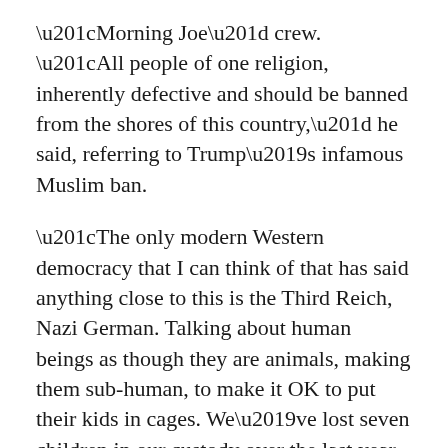“Morning Joe” crew. “All people of one religion, inherently defective and should be banned from the shores of this country,” he said, referring to Trump’s infamous Muslim ban.
“The only modern Western democracy that I can think of that has said anything close to this is the Third Reich, Nazi German. Talking about human beings as though they are animals, making them sub-human, to make it OK to put their kids in cages. We’ve lost seven children in our custody over the last year in this, the wealthiest, the most powerful country on the face of the planet.”
“Saying that he wants more immigrants like those from Nordic countries, the whitest places on the face of the earth, and the least...